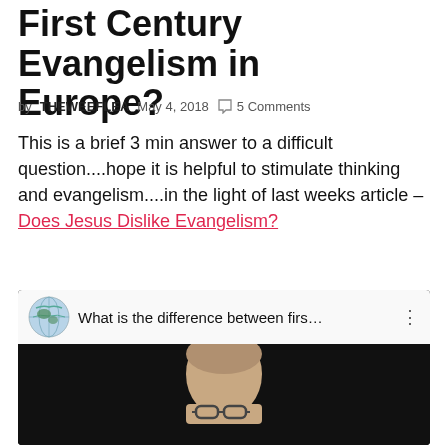First Century Evangelism in Europe?
by THEWEEFLEA   May 4, 2018   5 Comments
This is a brief 3 min answer to a difficult question....hope it is helpful to stimulate thinking and evangelism....in the light of last weeks article – Does Jesus Dislike Evangelism?
[Figure (screenshot): Embedded YouTube video thumbnail showing a man's face against a dark background. The video bar shows a globe icon and the title 'What is the difference between firs...' with a three-dot menu icon.]